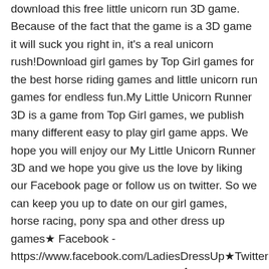download this free little unicorn run 3D game. Because of the fact that the game is a 3D game it will suck you right in, it's a real unicorn rush!Download girl games by Top Girl games for the best horse riding games and little unicorn run games for endless fun.My Little Unicorn Runner 3D is a game from Top Girl games, we publish many different easy to play girl game apps. We hope you will enjoy our My Little Unicorn Runner 3D and we hope you give us the love by liking our Facebook page or follow us on twitter. So we can keep you up to date on our girl games, horse racing, pony spa and other dress up games★ Facebook - https://www.facebook.com/LadiesDressUp★Twitter - https://twitter.com/ladiesdressup�
3�Симулятор задрота (Pro) Mod Симулятор задрота (Pro) Mod (paid) 1.4 Features:Paid for freeСимулятор задрота (Pro) Mod (paid) 1.4 APK MOD is published on 2019-10-26. Download and install Симулятор задрота (Pro) Mod (paid) 1.4 APK file (23.68 MB). Over 50 users have download this mod. They rate a 3.7 of 5